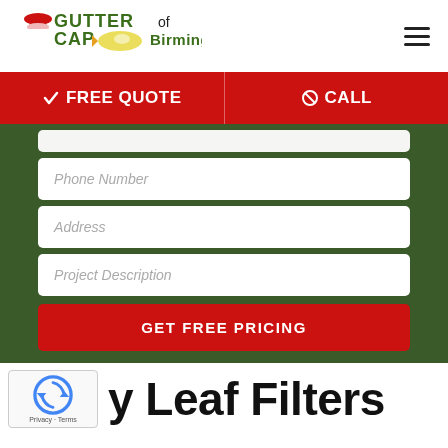[Figure (logo): Gutter Cap of Birmingham logo with red and olive/green text and a bird/cap illustration]
[Figure (other): Hamburger menu icon (three horizontal lines)]
✓ FREE QUOTE   ⊘ CALL
[Figure (screenshot): Website form with Phone Number, Address, Project Description fields and GET FREE PRICING button on a dark green background]
[Figure (other): reCAPTCHA widget with spinning arrows logo and Privacy - Terms text]
y Leaf Filters